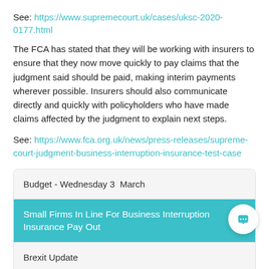See: https://www.supremecourt.uk/cases/uksc-2020-0177.html
The FCA has stated that they will be working with insurers to ensure that they now move quickly to pay claims that the judgment said should be paid, making interim payments wherever possible. Insurers should also communicate directly and quickly with policyholders who have made claims affected by the judgment to explain next steps.
See: https://www.fca.org.uk/news/press-releases/supreme-court-judgment-business-interruption-insurance-test-case
Budget - Wednesday 3 March
Small Firms In Line For Business Interruption Insurance Pay Out
Brexit Update
COVID-19 Update